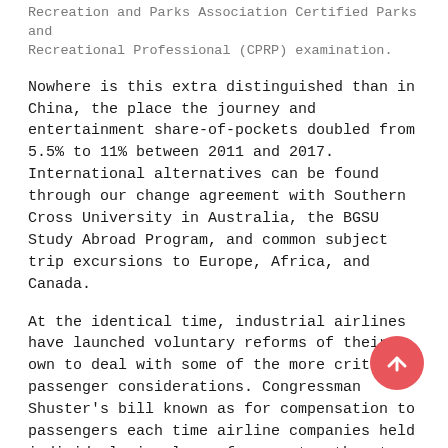Recreation and Parks Association Certified Parks and Recreational Professional (CPRP) examination.
Nowhere is this extra distinguished than in China, the place the journey and entertainment share-of-pockets doubled from 5.5% to 11% between 2011 and 2017. International alternatives can be found through our change agreement with Southern Cross University in Australia, the BGSU Study Abroad Program, and common subject trip excursions to Europe, Africa, and Canada.
At the identical time, industrial airlines have launched voluntary reforms of their own to deal with some of the more critical passenger considerations. Congressman Shuster's bill known as for compensation to passengers each time airline companies held individuals in planes for greater than two hours.
Severe acute respiratory system (SARS) is one instance the business is finding out for steering. It took WHOroughly 4 months from the second it introduced a worldwide alert about SARS until it said the illness was contained, after which a further 5 months for the organization to wrap up its efforts to tally new instances. According to aviation analysts at AirInsight, the SARS outbreak cost airlines$10 billion, and that was at a time when international business was much less developed. That's much less of an option for operators corresponding to Guy Rubin, founding father of Imperial Tours, whose entire enterprise is based on luxurious trips to the Chinese mainland